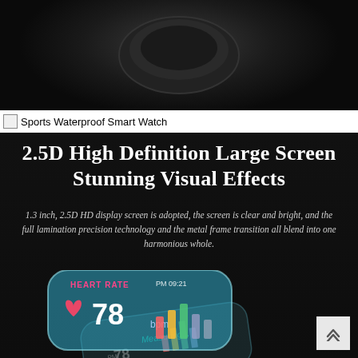[Figure (photo): Top portion of a dark smartwatch product photo showing the top/crown area of the watch against a dark background]
Sports Waterproof Smart Watch
[Figure (infographic): Dark background promotional infographic for a smartwatch. Title reads '2.5D High Definition Large Screen Stunning Visual Effects'. Body text: '1.3 inch, 2.5D HD display screen is adopted, the screen is clear and bright, and the full lamination precision technology and the metal frame transition all blend into one harmonious whole.' Below is a stylized image of a smartwatch screen showing HEART RATE 78 bpm, PM 09:21, and Measuring... with layered transparent screen effect and a colorful bar chart.]